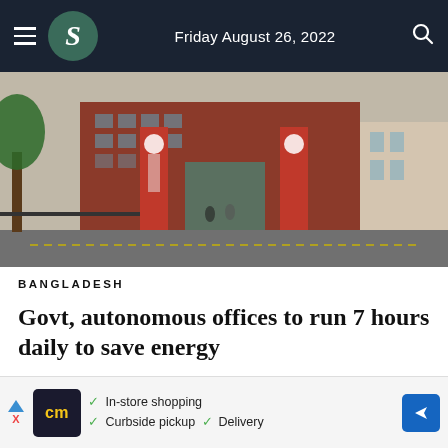Friday August 26, 2022
[Figure (photo): Exterior view of a brick building with red and white branded pillars/banners at its entrance gate, trees visible on the left side, a green metal gate, and another building visible on the right.]
BANGLADESH
Govt, autonomous offices to run 7 hours daily to save energy
3
[Figure (other): Advertisement bar showing cm logo, checkmarks for In-store shopping, Curbside pickup, Delivery, and a blue navigation arrow icon.]